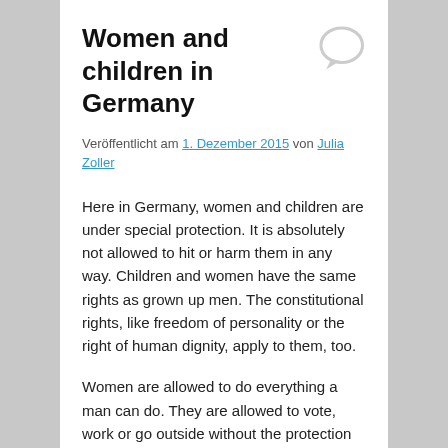Women and children in Germany
Veröffentlicht am 1. Dezember 2015 von Julia Zoller
Here in Germany, women and children are under special protection. It is absolutely not allowed to hit or harm them in any way. Children and women have the same rights as grown up men. The constitutional rights, like freedom of personality or the right of human dignity, apply to them, too.
Women are allowed to do everything a man can do. They are allowed to vote, work or go outside without the protection of a man. They can wear whatever they want and behave like they want. They are allowed to choose the job and religion they like and to fall in love with whoever they like. It is not allowed to force a woman to do something – it is not allowed to force anyone to do something. If a woman doesn't want, you can't force her